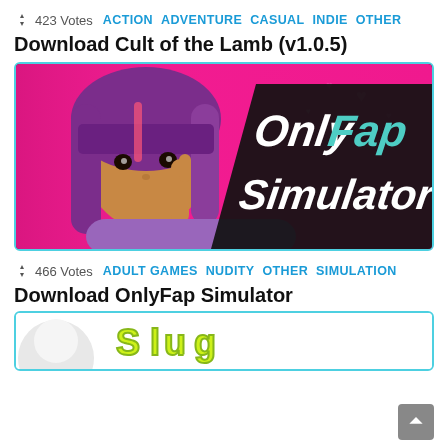↕ 423 Votes  ACTION  ADVENTURE  CASUAL  INDIE  OTHER
Download Cult of the Lamb (v1.0.5)
[Figure (photo): OnlyFap Simulator game promotional banner showing a 3D animated girl character with purple hair on a pink background with the text 'OnlyFap Simulator']
↕ 466 Votes  ADULT GAMES  NUDITY  OTHER  SIMULATION
Download OnlyFap Simulator
[Figure (photo): Partial view of another game's promotional banner at the bottom of the page]